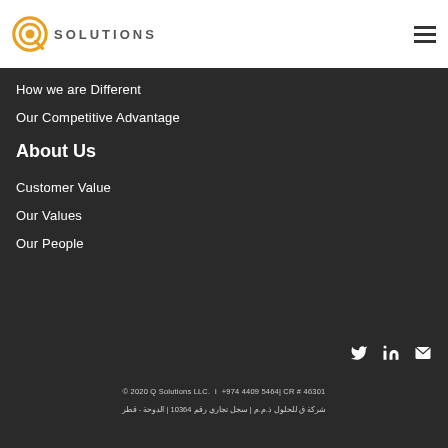[Figure (logo): Q Solutions logo with circular target icon and SOLUTIONS text]
How we are Different
Our Competitive Advantage
About Us
Customer Value
Our Values
Our People
[Figure (infographic): Social media icons: Twitter, LinkedIn, Email]
© 2020 Q Solutions LLC.  |  +974 4409 5464| CR # 46301
شركة ق للحلول ذ.م.م | سجل تجاري رقم 46301 | الدوحة - قطر